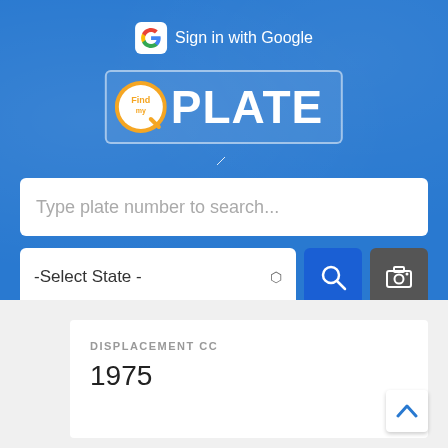[Figure (screenshot): FindMyPlate web app header with blue background, Google Sign-in button, FindPlate logo with orange magnifier badge, search bar saying 'Type plate number to search...', state selector dropdown '-Select State -', blue search button with magnifier icon, dark camera button]
DISPLACEMENT CC
1975